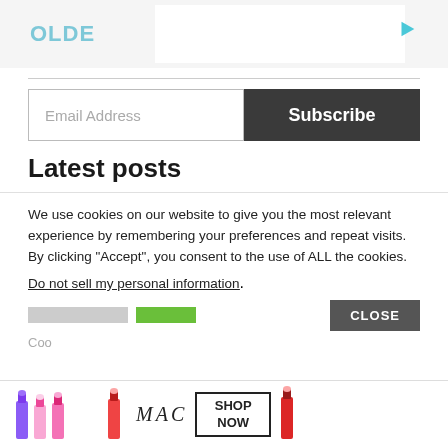OLDE
Email Address
Subscribe
Latest posts
We use cookies on our website to give you the most relevant experience by remembering your preferences and repeat visits. By clicking “Accept”, you consent to the use of ALL the cookies.
Do not sell my personal information.
CLOSE
[Figure (photo): MAC cosmetics advertisement banner showing lipsticks in purple, pink, and red with MAC logo and SHOP NOW button]